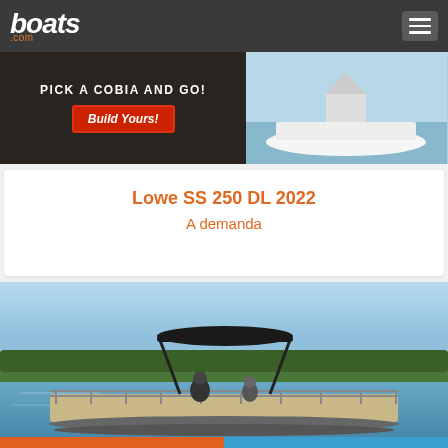boats.com
[Figure (photo): Cobia boat advertisement banner: 'PICK A COBIA AND GO!' with 'Build Yours!' red button on dark background, and a Cobia boat on water on the right side]
Lowe SS 250 DL 2022
A demanda
[Figure (photo): A pontoon boat with black bimini top on calm blue water with tree line in the background, people aboard]
Contactar
Llamar